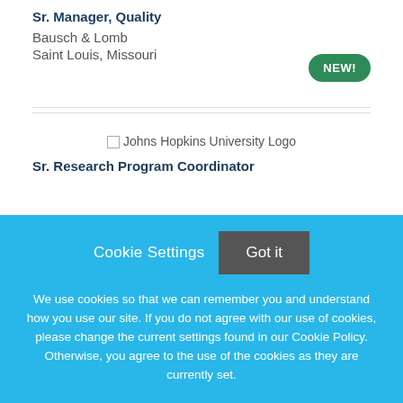Sr. Manager, Quality
Bausch & Lomb
Saint Louis, Missouri
[Figure (logo): Johns Hopkins University Logo placeholder image]
Sr. Research Program Coordinator
Cookie Settings  Got it

We use cookies so that we can remember you and understand how you use our site. If you do not agree with our use of cookies, please change the current settings found in our Cookie Policy. Otherwise, you agree to the use of the cookies as they are currently set.